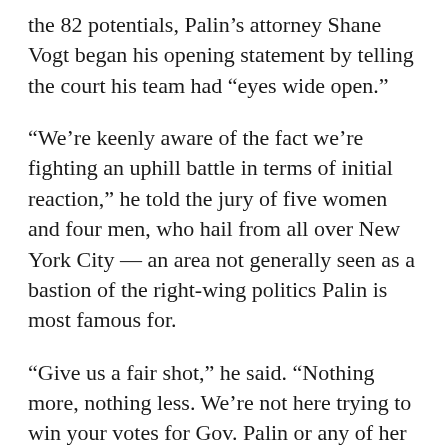the 82 potentials, Palin's attorney Shane Vogt began his opening statement by telling the court his team had “eyes wide open.”
“We’re keenly aware of the fact we’re fighting an uphill battle in terms of initial reaction,” he told the jury of five women and four men, who hail from all over New York City — an area not generally seen as a bastion of the right-wing politics Palin is most famous for.
“Give us a fair shot,” he said. “Nothing more, nothing less. We’re not here trying to win your votes for Gov. Palin or any of her policies.”